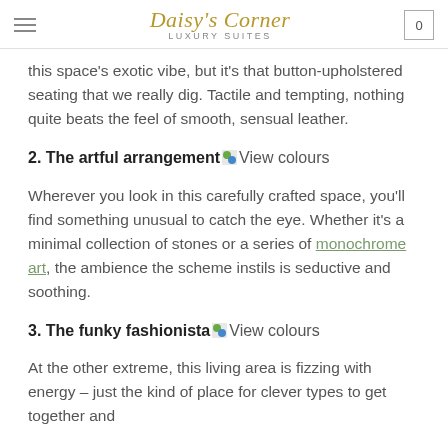Daisy's Corner Luxury Suites
this space's exotic vibe, but it's that button-upholstered seating that we really dig. Tactile and tempting, nothing quite beats the feel of smooth, sensual leather.
2. The artful arrangement View colours
Wherever you look in this carefully crafted space, you'll find something unusual to catch the eye. Whether it's a minimal collection of stones or a series of monochrome art, the ambience the scheme instils is seductive and soothing.
3. The funky fashionista View colours
At the other extreme, this living area is fizzing with energy – just the kind of place for clever types to get together and